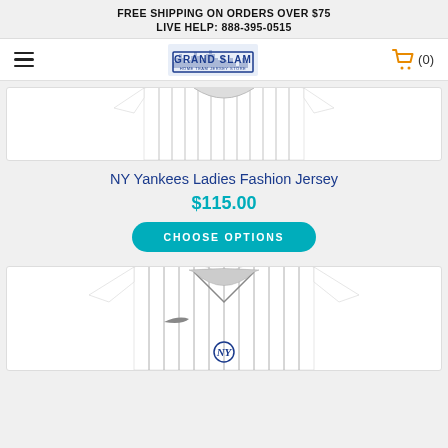FREE SHIPPING ON ORDERS OVER $75
LIVE HELP: 888-395-0515
[Figure (logo): Grand Slam store logo with city skyline, blue text, with hamburger menu on left and orange shopping cart with (0) on right]
[Figure (photo): NY Yankees white pinstripe ladies fashion jersey, partially cropped at top]
NY Yankees Ladies Fashion Jersey
$115.00
CHOOSE OPTIONS
[Figure (photo): NY Yankees white pinstripe jersey with Nike swoosh and Yankees logo, cropped view showing front]